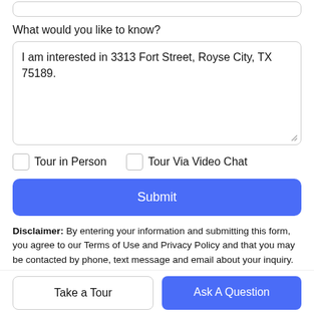What would you like to know?
I am interested in 3313 Fort Street, Royse City, TX 75189.
Tour in Person
Tour Via Video Chat
Submit
Disclaimer: By entering your information and submitting this form, you agree to our Terms of Use and Privacy Policy and that you may be contacted by phone, text message and email about your inquiry.
Take a Tour
Ask A Question